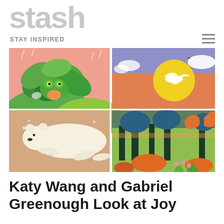stash
STAY INSPIRED
[Figure (illustration): A 2x2 grid of four colorful illustrations: top-left shows a green frog creature among tropical plants on a pink background; top-right shows a white bird flying toward a large yellow sun in an orange/purple sky with clouds; bottom-left shows a white polar bear floating/swimming on a peach background; bottom-right shows a colorful jungle scene with orange deer-like figures among blue trees and orange foliage.]
Katy Wang and Gabriel Greenough Look at Joy